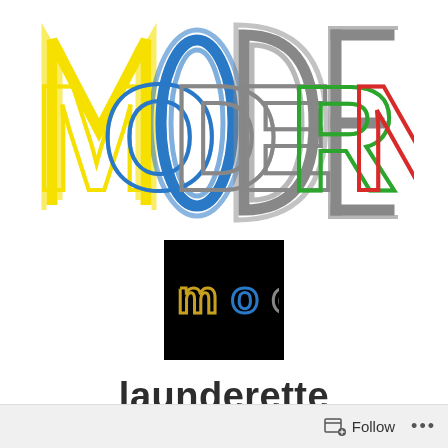[Figure (logo): MODERN logo in large retro-style outlined letters, each letter in a different color: yellow M, blue O, gray D, gray E, green R, red N, on white background]
[Figure (logo): MOOCH logo in retro multi-colored outlined letters on a black square background]
launderette
Macklin Street
Follow ...